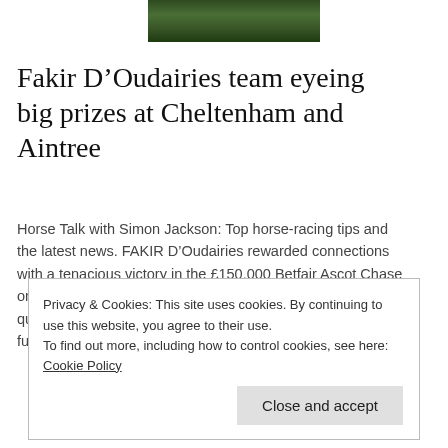[Figure (photo): Partial view of horses racing on a green turf track, cropped at top of page.]
Fakir D’Oudairies team eyeing big prizes at Cheltenham and Aintree
Horse Talk with Simon Jackson: Top horse-racing tips and the latest news. FAKIR D’Oudairies rewarded connections with a tenacious victory in the £150,000 Betfair Ascot Chase on soft ground at Ascot on Saturday. The one-and-three-quarters of a length victory in the valuable two miles and five furlongs contest was the first in this race for…
Privacy & Cookies: This site uses cookies. By continuing to use this website, you agree to their use.
To find out more, including how to control cookies, see here: Cookie Policy
Close and accept